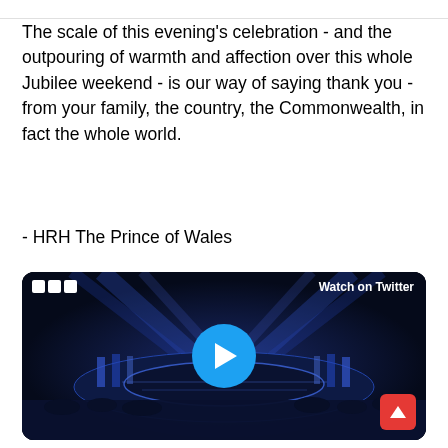The scale of this evening's celebration - and the outpouring of warmth and affection over this whole Jubilee weekend - is our way of saying thank you - from your family, the country, the Commonwealth, in fact the whole world.
- HRH The Prince of Wales
[Figure (screenshot): BBC video player screenshot showing a concert stage lit with blue lights at night, with a large circular stage and audience. Features BBC logo, 'Watch on Twitter' label, and a blue circular play button in the center.]